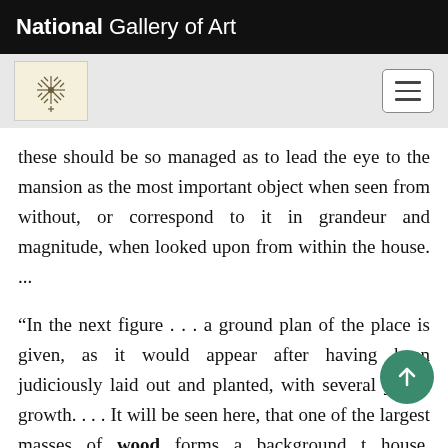National Gallery of Art
these should be so managed as to lead the eye to the mansion as the most important object when seen from without, or correspond to it in grandeur and magnitude, when looked upon from within the house. ...
“In the next figure . . . a ground plan of the place is given, as it would appear after having been judiciously laid out and planted, with several years’ growth. . . . It will be seen here, that one of the largest masses of wood forms a background t house, concealing also the out-buildings; whil the windows of the mansion itself, the trees are so